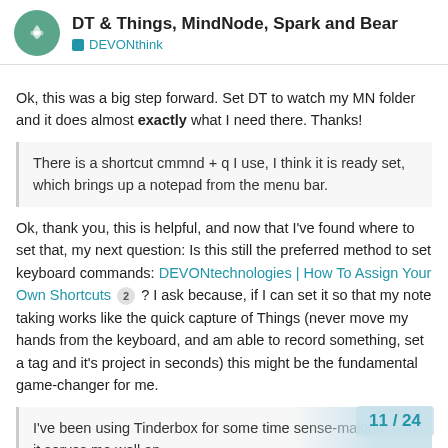DT & Things, MindNode, Spark and Bear — DEVONthink
Ok, this was a big step forward. Set DT to watch my MN folder and it does almost exactly what I need there. Thanks!
There is a shortcut cmmnd + q I use, I think it is ready set, which brings up a notepad from the menu bar.
Ok, thank you, this is helpful, and now that I've found where to set that, my next question: Is this still the preferred method to set keyboard commands: DEVONtechnologies | How To Assign Your Own Shortcuts 2 ? I ask because, if I can set it so that my note taking works like the quick capture of Things (never move my hands from the keyboard, and am able to record something, set a tag and it's project in seconds) this might be the fundamental game-changer for me.
I've been using Tinderbox for some time sense-making, and it serves me well an